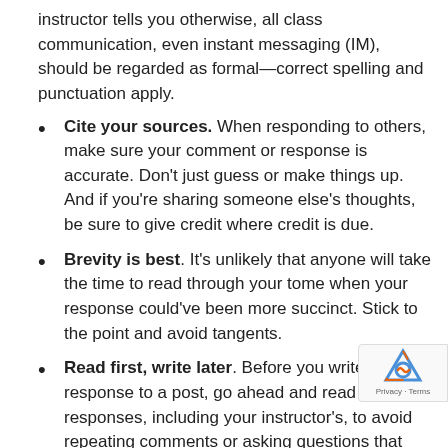instructor tells you otherwise, all class communication, even instant messaging (IM), should be regarded as formal—correct spelling and punctuation apply.
Cite your sources. When responding to others, make sure your comment or response is accurate. Don't just guess or make things up. And if you're sharing someone else's thoughts, be sure to give credit where credit is due.
Brevity is best. It's unlikely that anyone will take the time to read through your tome when your response could've been more succinct. Stick to the point and avoid tangents.
Read first, write later. Before you write a response to a post, go ahead and read all the responses, including your instructor's, to avoid repeating comments or asking questions that have already been addressed.
Read twice, send once. If you've ever sent an